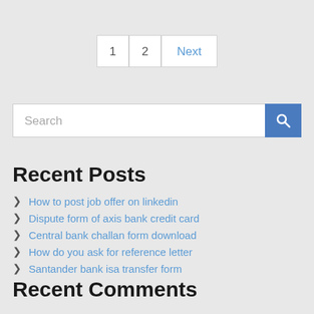1  2  Next
Search
Recent Posts
How to post job offer on linkedin
Dispute form of axis bank credit card
Central bank challan form download
How do you ask for reference letter
Santander bank isa transfer form
Recent Comments